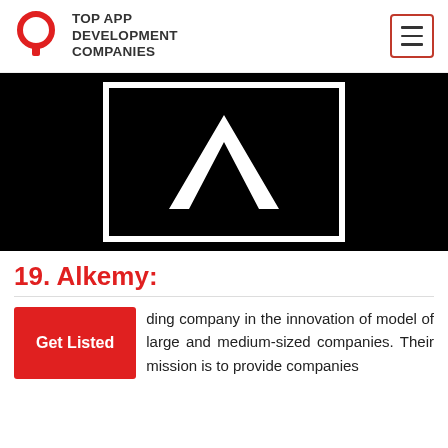TOP APP DEVELOPMENT COMPANIES
[Figure (logo): Alkemy company logo — white letter A on black background with white border frame]
19. Alkemy:
ding company in the innovation of model of large and medium-sized companies. Their mission is to provide companies